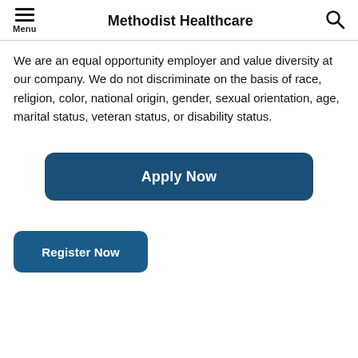Methodist Healthcare
We are an equal opportunity employer and value diversity at our company. We do not discriminate on the basis of race, religion, color, national origin, gender, sexual orientation, age, marital status, veteran status, or disability status.
[Figure (other): Apply Now button — large dark blue rounded rectangle with white bold text 'Apply Now']
[Figure (other): Register Now button — smaller dark blue rounded rectangle with white bold text 'Register Now']